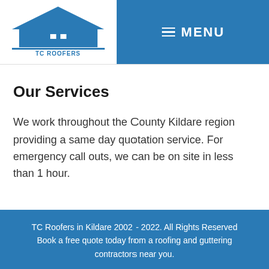[Figure (logo): TC Roofers Kildare logo with house/roof icon in blue above the text TC ROOFERS KILDARE]
≡ MENU
Our Services
We work throughout the County Kildare region providing a same day quotation service. For emergency call outs, we can be on site in less than 1 hour.
TC Roofers in Kildare 2002 - 2022. All Rights Reserved Book a free quote today from a roofing and guttering contractors near you.